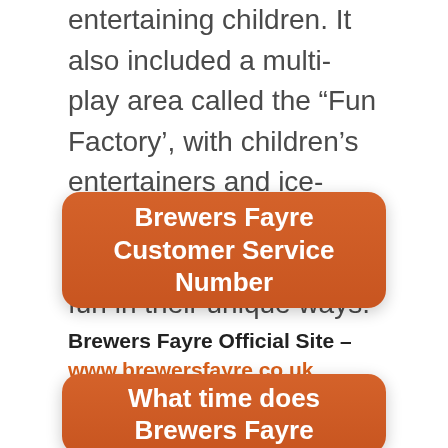entertaining children. It also included a multi-play area called the “Fun Factory’, with children’s entertainers and ice-cream machines. Everyone can enjoy the fun in their unique ways.
Brewers Fayre Customer Service Number
Brewers Fayre Official Site – www.brewersfayre.co.uk
What time does Brewers Fayre